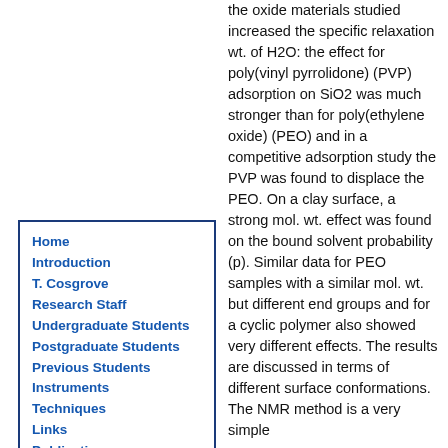Home
Introduction
T. Cosgrove
Research Staff
Undergraduate Students
Postgraduate Students
Previous Students
Instruments
Techniques
Links
Publications
Events
Sponsors
the oxide materials studied increased the specific relaxation wt. of H2O: the effect for poly(vinyl pyrrolidone) (PVP) adsorption on SiO2 was much stronger than for poly(ethylene oxide) (PEO) and in a competitive adsorption study the PVP was found to displace the PEO. On a clay surface, a strong mol. wt. effect was found on the bound solvent probability (p). Similar data for PEO samples with a similar mol. wt. but different end groups and for a cyclic polymer also showed very different effects. The results are discussed in terms of different surface conformations. The NMR method is a very simple